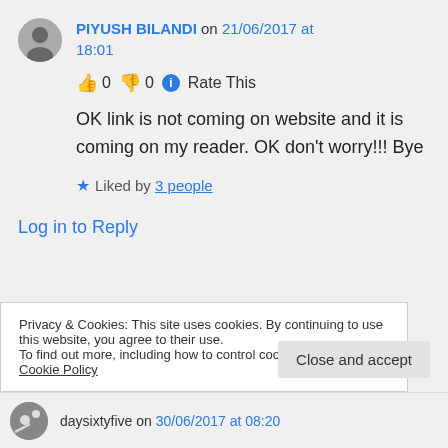PIYUSH BILANDI on 21/06/2017 at 18:01
👍 0 👎 0 ℹ Rate This
OK link is not coming on website and it is coming on my reader. OK don't worry!!! Bye
★ Liked by 3 people
Log in to Reply
Privacy & Cookies: This site uses cookies. By continuing to use this website, you agree to their use.
To find out more, including how to control cookies, see here: Cookie Policy
Close and accept
daysixtyfive on 30/06/2017 at 08:20